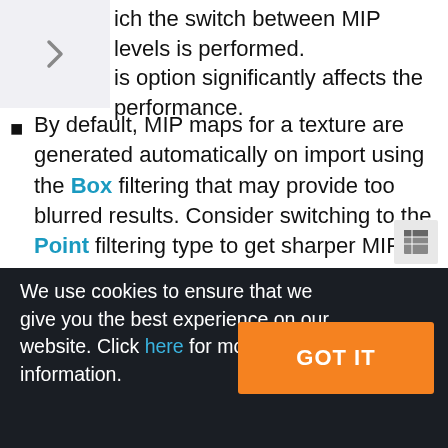ich the switch between MIP levels is performed. is option significantly affects the performance.
By default, MIP maps for a texture are generated automatically on import using the Box filtering that may provide too blurred results. Consider switching to the Point filtering type to get sharper MIP maps.
You can also prepare custom MIP maps in third party software. For example, here is a comparis between MIP maps generated using the Box filtu…ng
We use cookies to ensure that we give you the best experience on our website. Click here for more information.
GOT IT